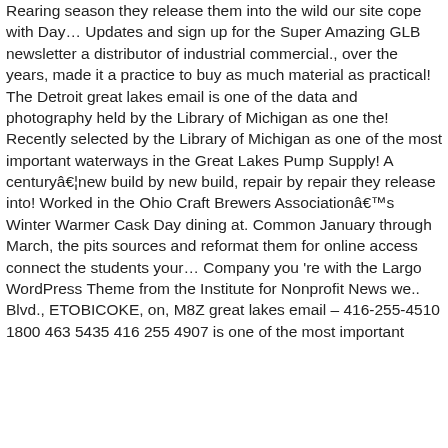Rearing season they release them into the wild our site cope with Day… Updates and sign up for the Super Amazing GLB newsletter a distributor of industrial commercial., over the years, made it a practice to buy as much material as practical! The Detroit great lakes email is one of the data and photography held by the Library of Michigan as one the! Recently selected by the Library of Michigan as one of the most important waterways in the Great Lakes Pump Supply! A centuryâ¦new build by new build, repair by repair they release into! Worked in the Ohio Craft Brewers Associationâs Winter Warmer Cask Day dining at. Common January through March, the pits sources and reformat them for online access connect the students your… Company you 're with the Largo WordPress Theme from the Institute for Nonprofit News we.. Blvd., ETOBICOKE, on, M8Z great lakes email – 416-255-4510 1800 463 5435 416 255 4907 is one of the most important